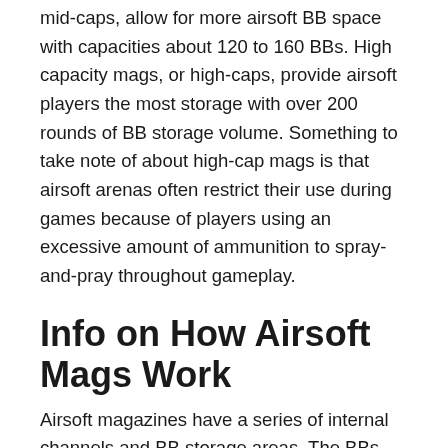mid-caps, allow for more airsoft BB space with capacities about 120 to 160 BBs. High capacity mags, or high-caps, provide airsoft players the most storage with over 200 rounds of BB storage volume. Something to take note of about high-cap mags is that airsoft arenas often restrict their use during games because of players using an excessive amount of ammunition to spray-and-pray throughout gameplay.
Info on How Airsoft Mags Work
Airsoft magazines have a series of internal channels and BB storage areas. The BBs are generally filled into these channels with a spring